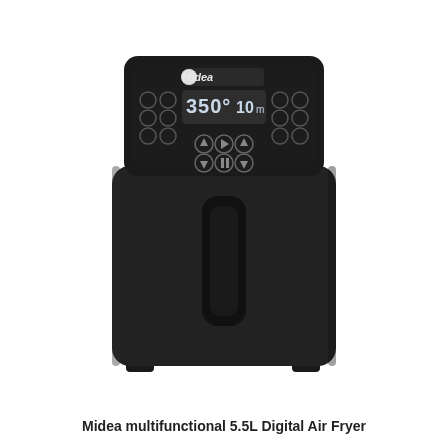[Figure (photo): A Midea multifunctional 5.5L Digital Air Fryer, matte black color, with digital control panel on top showing '350° 10' display, multiple circular control buttons, and a pull-out basket drawer with a vertical handle in the center front.]
Midea multifunctional 5.5L Digital Air Fryer